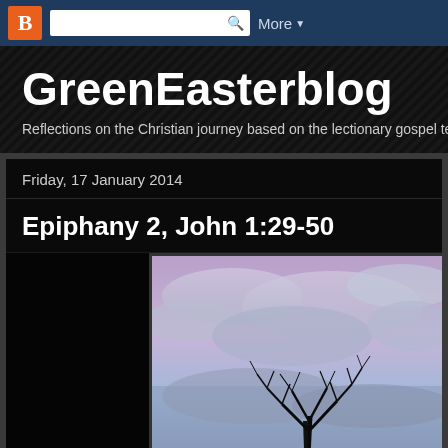B [blogger button] [search bar] More ▼
GreenEasterblog
Reflections on the Christian journey based on the lectionary gospel te
Friday, 17 January 2014
Epiphany 2, John 1:29-50
[Figure (photo): A winter landscape photo showing a bare tree silhouette against a dramatic purple and blue cloudy sky]